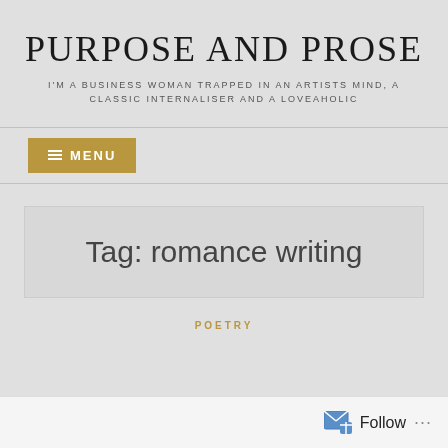PURPOSE AND PROSE
I'M A BUSINESS WOMAN TRAPPED IN AN ARTISTS MIND, A CLASSIC INTERNALISER AND A LOVEAHOLIC
≡ MENU
Tag: romance writing
POETRY
Follow ...